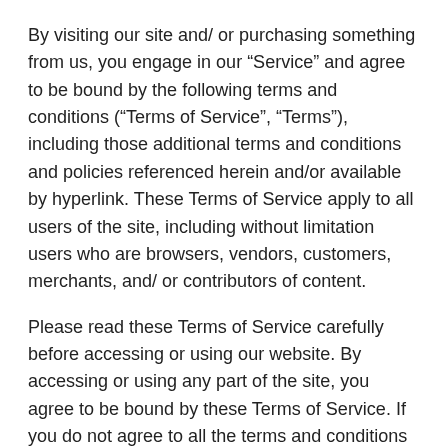By visiting our site and/ or purchasing something from us, you engage in our “Service” and agree to be bound by the following terms and conditions (“Terms of Service”, “Terms”), including those additional terms and conditions and policies referenced herein and/or available by hyperlink. These Terms of Service apply to all users of the site, including without limitation users who are browsers, vendors, customers, merchants, and/ or contributors of content.
Please read these Terms of Service carefully before accessing or using our website. By accessing or using any part of the site, you agree to be bound by these Terms of Service. If you do not agree to all the terms and conditions of this agreement, then you may not access the website or use any services. If these Terms of Service are considered an offer, acceptance is expressly limited to these Terms of Service.
Any new features or tools which are added to the current